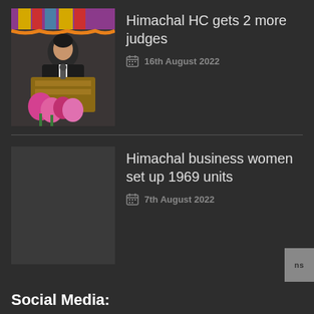[Figure (photo): A man in a dark suit speaking at a podium decorated with flowers, colorful drapery in the background]
Himachal HC gets 2 more judges
16th August 2022
Himachal business women set up 1969 units
7th August 2022
Social Media: